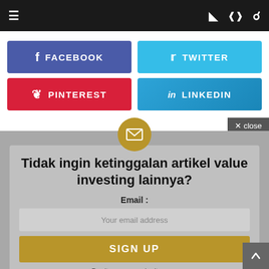≡  ) ≪ 🔍
[Figure (screenshot): Social share buttons: Facebook (blue-purple), Twitter (light blue), Pinterest (red), LinkedIn (blue gradient)]
✕ close
[Figure (infographic): Gold envelope icon in circle at top of newsletter signup card]
Tidak ingin ketinggalan artikel value investing lainnya?
Email :
Your email address
SIGN UP
Don't worry, we don't spam